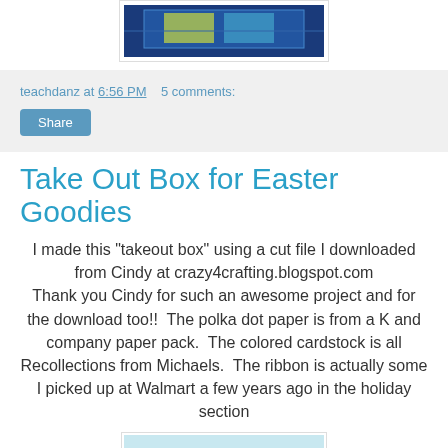[Figure (photo): Partial photo of a crafting project with blue background and colorful cards/paper]
teachdanz at 6:56 PM   5 comments:
[Figure (other): Share button]
Take Out Box for Easter Goodies
I made this "takeout box" using a cut file I downloaded from Cindy at crazy4crafting.blogspot.com
Thank you Cindy for such an awesome project and for the download too!!  The polka dot paper is from a K and company paper pack.  The colored cardstock is all Recollections from Michaels.  The ribbon is actually some I picked up at Walmart a few years ago in the holiday section
[Figure (photo): Photo of a blue takeout box with colorful polka dot ribbon/paper across the top]